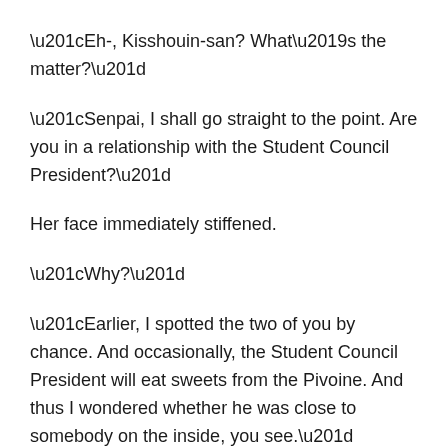“Eh-, Kisshouin-san? What’s the matter?”
“Senpai, I shall go straight to the point. Are you in a relationship with the Student Council President?”
Her face immediately stiffened.
“Why?”
“Earlier, I spotted the two of you by chance. And occasionally, the Student Council President will eat sweets from the Pivoine. And thus I wondered whether he was close to somebody on the inside, you see.”
“…”
After that, I found out various things from her.
About how they were in the same class last year, and gradually